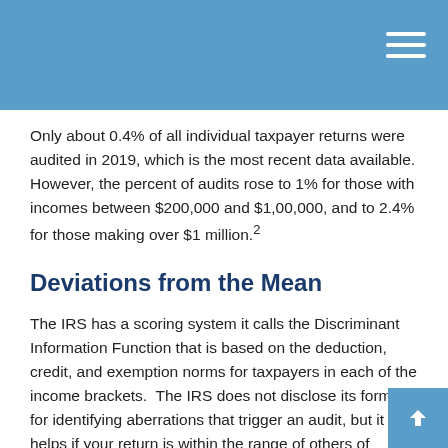Only about 0.4% of all individual taxpayer returns were audited in 2019, which is the most recent data available. However, the percent of audits rose to 1% for those with incomes between $200,000 and $1,00,000, and to 2.4% for those making over $1 million.²
Deviations from the Mean
The IRS has a scoring system it calls the Discriminant Information Function that is based on the deduction, credit, and exemption norms for taxpayers in each of the income brackets.  The IRS does not disclose its formula for identifying aberrations that trigger an audit, but it helps if your return is within the range of others of similar income.
When a Business is Really a Hobby